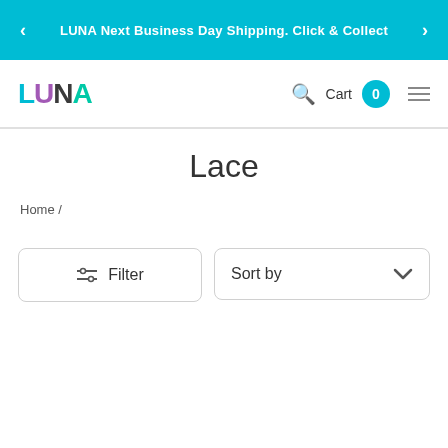LUNA Next Business Day Shipping. Click & Collect
[Figure (logo): LUNA brand logo with multicolor letters: L in cyan, U in purple, N in dark gray, A in teal]
Lace
Home /
Filter
Sort by